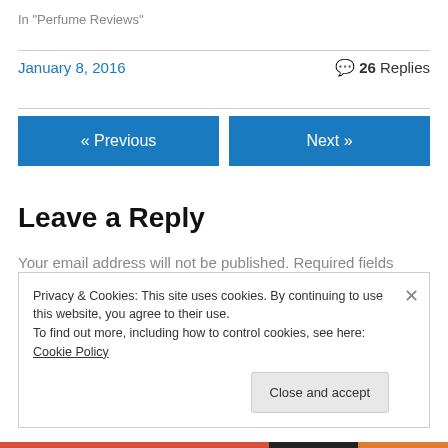In "Perfume Reviews"
January 8, 2016
💬 26 Replies
« Previous
Next »
Leave a Reply
Your email address will not be published. Required fields
Privacy & Cookies: This site uses cookies. By continuing to use this website, you agree to their use.
To find out more, including how to control cookies, see here: Cookie Policy
Close and accept